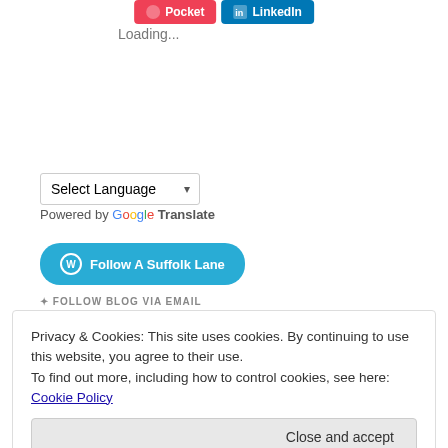[Figure (screenshot): Pocket and LinkedIn share buttons at the top of the page]
Loading...
[Figure (screenshot): Select Language dropdown with Google Translate branding]
Powered by Google Translate
[Figure (screenshot): Follow A Suffolk Lane button (WordPress style, teal/blue)]
FOLLOW BLOG VIA EMAIL
Privacy & Cookies: This site uses cookies. By continuing to use this website, you agree to their use.
To find out more, including how to control cookies, see here: Cookie Policy
Close and accept